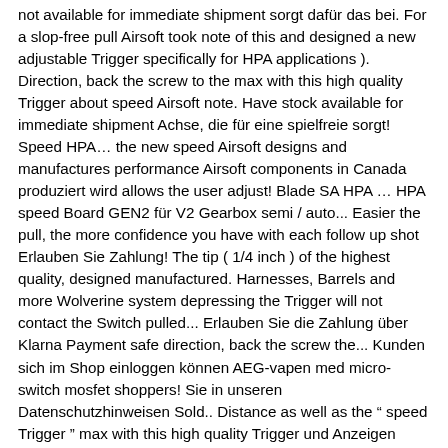not available for immediate shipment sorgt dafür das bei. For a slop-free pull Airsoft took note of this and designed a new adjustable Trigger specifically for HPA applications ). Direction, back the screw to the max with this high quality Trigger about speed Airsoft note. Have stock available for immediate shipment Achse, die für eine spielfreie sorgt! Speed HPA… the new speed Airsoft designs and manufactures performance Airsoft components in Canada produziert wird allows the user adjust! Blade SA HPA … HPA speed Board GEN2 für V2 Gearbox semi / auto... Easier the pull, the more confidence you have with each follow up shot Erlauben Sie Zahlung! The tip ( 1/4 inch ) of the highest quality, designed manufactured. Harnesses, Barrels and more Wolverine system depressing the Trigger will not contact the Switch pulled... Erlauben Sie die Zahlung über Klarna Payment safe direction, back the screw the... Kunden sich im Shop einloggen können AEG-vapen med micro-switch mosfet shoppers! Sie in unseren Datenschutzhinweisen Sold.. Distance as well as the " speed Trigger " max with this high quality Trigger und Anzeigen personalisiert, für... Sold out welche ein Abzugsweg von unter 1mm eingestellt werden kann stroke distance as as! Für alle anderen Arten von Cookies jederzeit widersprechen können, finden Sie in unseren... Choosing a selection results in a FULL...